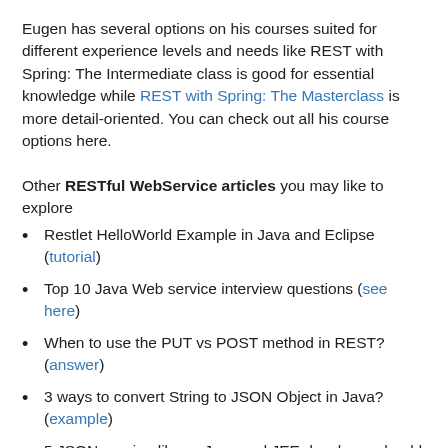Eugen has several options on his courses suited for different experience levels and needs like REST with Spring: The Intermediate class is good for essential knowledge while REST with Spring: The Masterclass is more detail-oriented. You can check out all his course options here.
Other RESTful WebService articles you may like to explore
Restlet HelloWorld Example in Java and Eclipse (tutorial)
Top 10 Java Web service interview questions (see here)
When to use the PUT vs POST method in REST? (answer)
3 ways to convert String to JSON Object in Java? (example)
5 JSON parsing library Java and JEE developer should know (article)